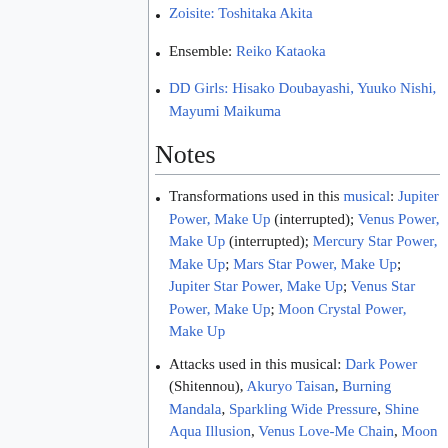Zoisite: Toshitaka Akita
Ensemble: Reiko Kataoka
DD Girls: Hisako Doubayashi, Yuuko Nishi, Mayumi Maikuma
Notes
Transformations used in this musical: Jupiter Power, Make Up (interrupted); Venus Power, Make Up (interrupted); Mercury Star Power, Make Up; Mars Star Power, Make Up; Jupiter Star Power, Make Up; Venus Star Power, Make Up; Moon Crystal Power, Make Up
Attacks used in this musical: Dark Power (Shitennou), Akuryo Taisan, Burning Mandala, Sparkling Wide Pressure, Shine Aqua Illusion, Venus Love-Me Chain, Moon Princess